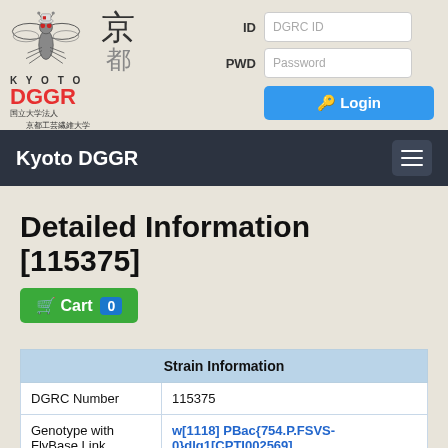[Figure (logo): Kyoto DGGR logo with Drosophila fly illustration, Japanese kanji characters, KYOTO text, DGGR in red, and university name in Japanese]
ID  DGRC ID
PWD  Password
Login
Kyoto DGGR
Detailed Information [115375]
Cart 0
| Strain Information |
| --- |
| DGRC Number | 115375 |
| Genotype with FlyBase Link | w[1118] PBac{754.P.FSVS-0}dlg1[CPTI002569] |
| Genotype | w1118 PBac{754.P.FSVS-0}dlg1CPTI002569 |